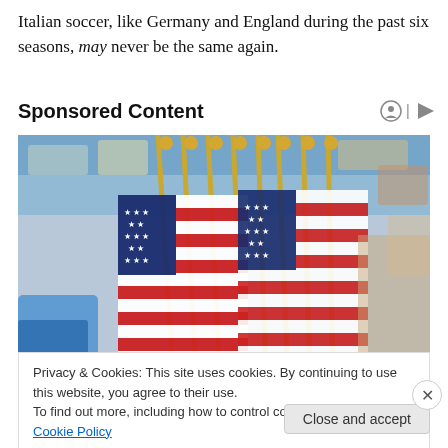Italian soccer, like Germany and England during the past six seasons, may never be the same again.
Sponsored Content
[Figure (photo): Multiple small American flags with gold finials bunched together, displayed in a store/retail environment with blurred shelves in the background.]
Privacy & Cookies: This site uses cookies. By continuing to use this website, you agree to their use.
To find out more, including how to control cookies, see here: Cookie Policy
Close and accept